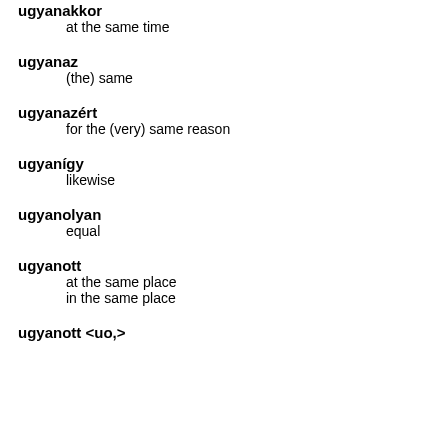ugyanakkor
    at the same time
ugyanaz
    (the) same
ugyanazért
    for the (very) same reason
ugyanígy
    likewise
ugyanolyan
    equal
ugyanott
    at the same place
    in the same place
ugyanott <uo,>